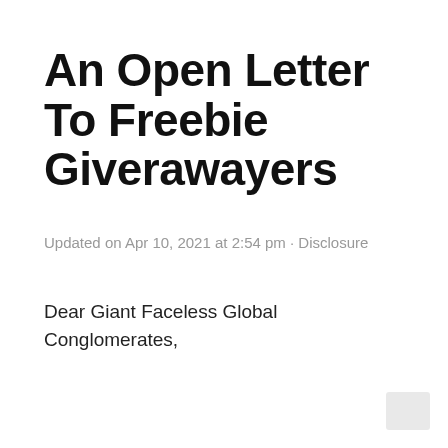An Open Letter To Freebie Giverawayers
Updated on Apr 10, 2021 at 2:54 pm · Disclosure
Dear Giant Faceless Global Conglomerates,